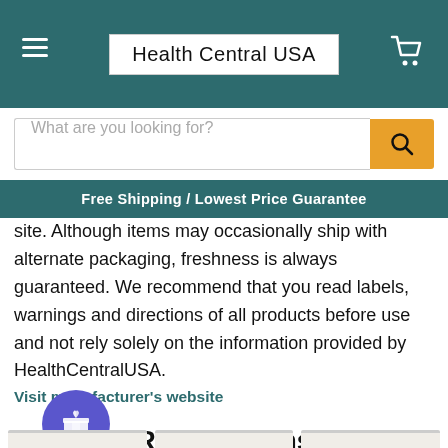Health Central USA
What are you looking for?
Free Shipping / Lowest Price Guarantee
site. Although items may occasionally ship with alternate packaging, freshness is always guaranteed. We recommend that you read labels, warnings and directions of all products before use and not rely solely on the information provided by HealthCentralUSA.
Visit manufacturer's website
Related Items